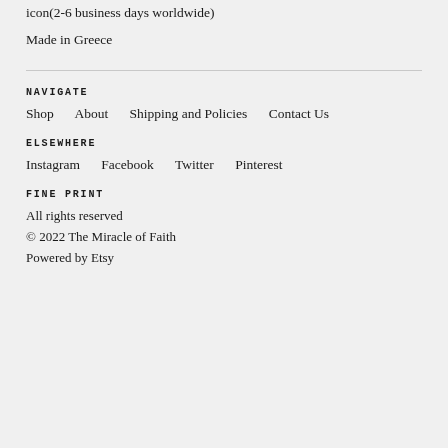icon(2-6 business days worldwide)
Made in Greece
NAVIGATE
Shop   About   Shipping and Policies   Contact Us
ELSEWHERE
Instagram   Facebook   Twitter   Pinterest
FINE PRINT
All rights reserved
© 2022 The Miracle of Faith
Powered by Etsy